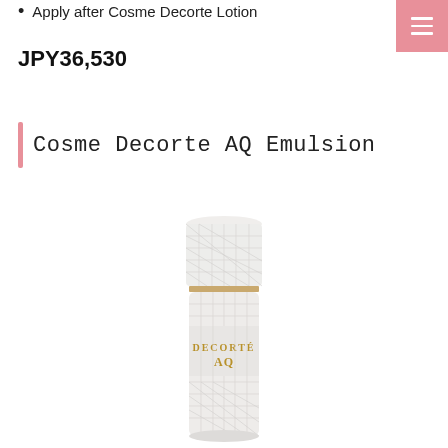Apply after Cosme Decorte Lotion
JPY36,530
Cosme Decorte AQ Emulsion
[Figure (photo): White textured bottle of Cosme Decorte AQ Emulsion skincare product with gold DECORTE AQ lettering and diamond-pattern embossed cap and body]